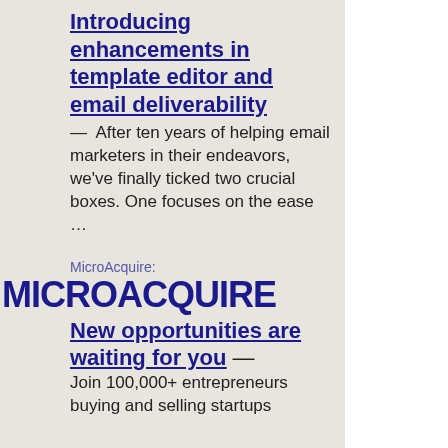Introducing enhancements in template editor and email deliverability
— After ten years of helping email marketers in their endeavors, we've finally ticked two crucial boxes. One focuses on the ease …
MicroAcquire:
MICROACQUIRE
New opportunities are waiting for you
— Join 100,000+ entrepreneurs buying and selling startups